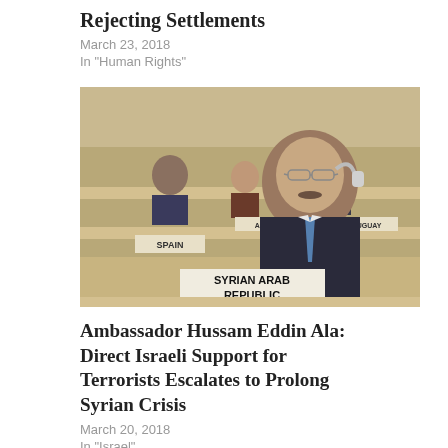Rejecting Settlements
March 23, 2018
In "Human Rights"
[Figure (photo): Ambassador Hussam Eddin Ala seated at a UN council table with a nameplate reading SYRIAN ARAB REPUBLIC, wearing glasses and a blue tie, with other delegates visible in background; Spain and other country nameplates visible.]
Ambassador Hussam Eddin Ala: Direct Israeli Support for Terrorists Escalates to Prolong Syrian Crisis
March 20, 2018
In "Israel"
[Figure (photo): Partial image strip at bottom of page, cropped.]